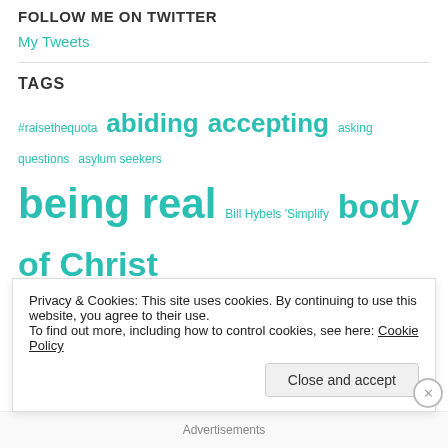FOLLOW ME ON TWITTER
My Tweets
TAGS
#raisethequota abiding accepting asking questions asylum seekers being real Bill Hybels 'Simplify body of Christ community comunity courage creating meaning Dreaming encourage encouragement
Privacy & Cookies: This site uses cookies. By continuing to use this website, you agree to their use.
To find out more, including how to control cookies, see here: Cookie Policy
Close and accept
Advertisements